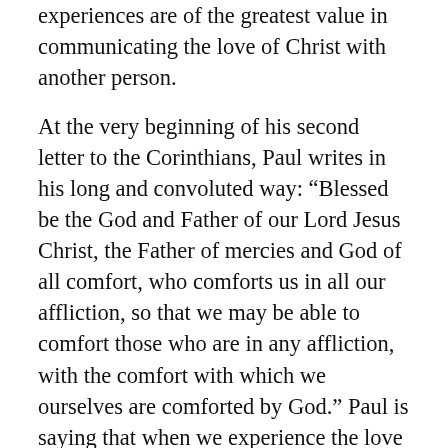experiences are of the greatest value in communicating the love of Christ with another person.
At the very beginning of his second letter to the Corinthians, Paul writes in his long and convoluted way: “Blessed be the God and Father of our Lord Jesus Christ, the Father of mercies and God of all comfort, who comforts us in all our affliction, so that we may be able to comfort those who are in any affliction, with the comfort with which we ourselves are comforted by God.” Paul is saying that when we experience the love of God, especially in our hardest, most sorrowful times, he transforms our pain and sorrow into a blessing as we are able to communicate that same love and comfort with